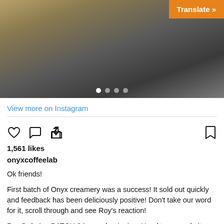[Figure (photo): A hand holding a golden/metallic bottle with 'ON' text visible, placed on a dark surface. Photo is part of an Instagram post by onyxcoffeelab.]
Translate »
View more on Instagram
1,561 likes
onyxcoffeelab
Ok friends!

First batch of Onyx creamery was a success! It sold out quickly and feedback has been deliciously positive! Don't take our word for it, scroll through and see Roy's reaction!

Pre-Ordering BATCH 2 is now beginning. Head to our website or click the link in our bio to order! Remember pick up only at